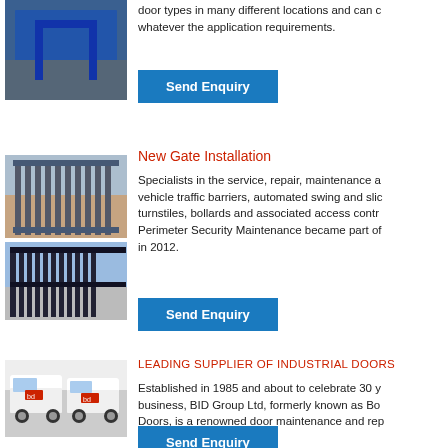[Figure (photo): Industrial door or gate, blue metal structure in an outdoor setting]
door types in many different locations and can cater for whatever the application requirements.
Send Enquiry
[Figure (photo): Automated sliding gate installation at a facility]
[Figure (photo): Black metal security gate at a facility]
New Gate Installation
Specialists in the service, repair, maintenance and installation of vehicle traffic barriers, automated swing and sliding gates, turnstiles, bollards and associated access control equipment. Perimeter Security Maintenance became part of the Group in 2012.
Send Enquiry
[Figure (photo): White BID Group branded vans parked outside]
LEADING SUPPLIER OF INDUSTRIAL DOORS
Established in 1985 and about to celebrate 30 years in business, BID Group Ltd, formerly known as Bo... Doors, is a renowned door maintenance and rep...
Send Enquiry